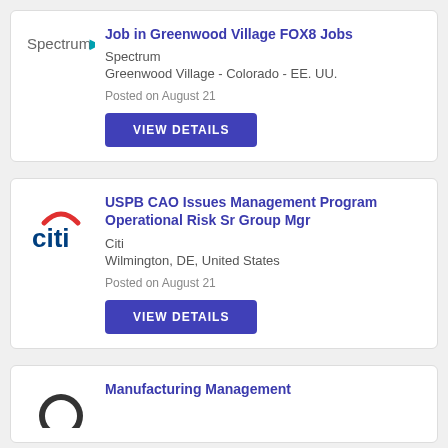[Figure (logo): Spectrum logo with teal arrow]
Job in Greenwood Village FOX8 Jobs
Spectrum
Greenwood Village - Colorado - EE. UU.
Posted on August 21
VIEW DETAILS
[Figure (logo): Citi logo with red arc above letters]
USPB CAO Issues Management Program Operational Risk Sr Group Mgr
Citi
Wilmington, DE, United States
Posted on August 21
VIEW DETAILS
[Figure (logo): Partial circular logo]
Manufacturing Management